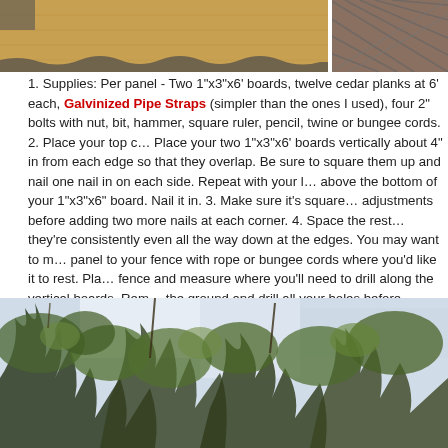[Figure (photo): Top strip of two photos: left shows a wooden board/fence with chain link, right shows chain-link fence close-up]
1. Supplies: Per panel - Two 1"x3"x6' boards, twelve cedar planks at 6' each, Galvinized Pipe Straps (simpler than the ones I used), four 2" bolts with nut, bit, hammer, square ruler, pencil, twine or bungee cords. 2. Place your top cedar plank. Place your two 1"x3"x6' boards vertically about 4" in from each edge so that they overlap. Be sure to square them up and nail one nail in on each side. Repeat with your last plank, about 2" above the bottom of your 1"x3"x6" board. Nail it in. 3. Make sure it's square and make any adjustments before adding two more nails at each corner. 4. Space the rest of your planks so they're consistently even all the way down at the edges. You may want to mount your fence panel to your fence with rope or bungee cords where you'd like it to rest. Place it back on the fence and measure where you'll need to drill along the vertical boards. Remove the panel from the ground and drill all your holes before attaching it back to the fence. Thread your bolts through the straps, add your washer and nut. Screw tight. Repeat.
[Figure (photo): Photo of trees with green foliage and branches against a bright sky, viewed from below]